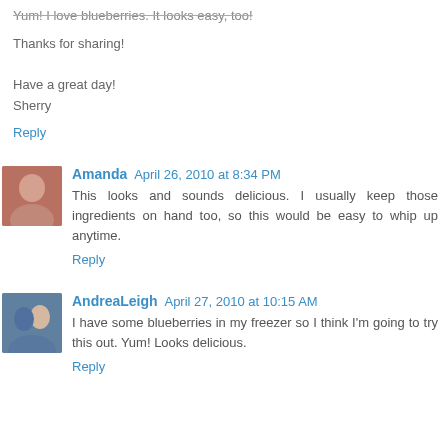Yum! I love blueberries. It looks easy, too!
Thanks for sharing!
Have a great day!
Sherry
Reply
Amanda  April 26, 2010 at 8:34 PM
This looks and sounds delicious. I usually keep those ingredients on hand too, so this would be easy to whip up anytime.
Reply
AndreaLeigh  April 27, 2010 at 10:15 AM
I have some blueberries in my freezer so I think I'm going to try this out. Yum! Looks delicious.
Reply